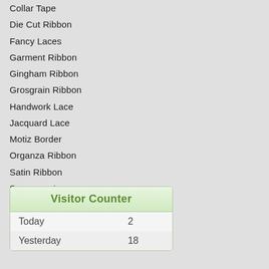Collar Tape
Die Cut Ribbon
Fancy Laces
Garment Ribbon
Gingham Ribbon
Grosgrain Ribbon
Handwork Lace
Jacquard Lace
Motiz Border
Organza Ribbon
Satin Ribbon
Sequence Lace
Tassel Ribbon
|  |  |
| --- | --- |
| Today | 2 |
| Yesterday | 18 |